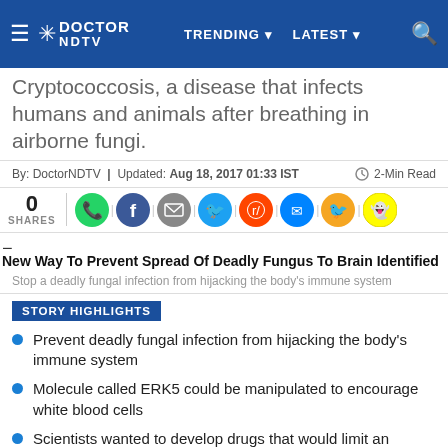Doctor NDTV | TRENDING | LATEST
Cryptococcosis, a disease that infects humans and animals after breathing in airborne fungi.
By: DoctorNDTV | Updated: Aug 18, 2017 01:33 IST    2-Min Read
0 SHARES
[Figure (screenshot): Social media share icons: WhatsApp, Facebook, Email, Twitter, Reddit, Messenger, bird icon, Snapchat]
[Figure (photo): Broken image placeholder followed by article title: New Way To Prevent Spread Of Deadly Fungus To Brain Identified]
Stop a deadly fungal infection from hijacking the body's immune system
STORY HIGHLIGHTS
Prevent deadly fungal infection from hijacking the body's immune system
Molecule called ERK5 could be manipulated to encourage white blood cells
Scientists wanted to develop drugs that would limit an infection